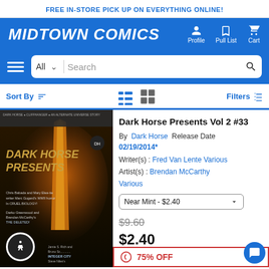FREE IN-STORE PICK UP ON EVERYTHING ONLINE!
MIDTOWN COMICS
Profile | Pull List | Cart
[Figure (screenshot): Search bar with 'All' dropdown, Search input, and magnifying glass icon]
Sort By | Filters
[Figure (photo): Dark Horse Presents comic book cover with dark dramatic artwork featuring a glowing orange figure]
Dark Horse Presents Vol 2 #33
By Dark Horse Release Date 02/19/2014*
Writer(s): Fred Van Lente Various
Artist(s): Brendan McCarthy Various
Near Mint - $2.40
$9.60
$2.40
75% OFF